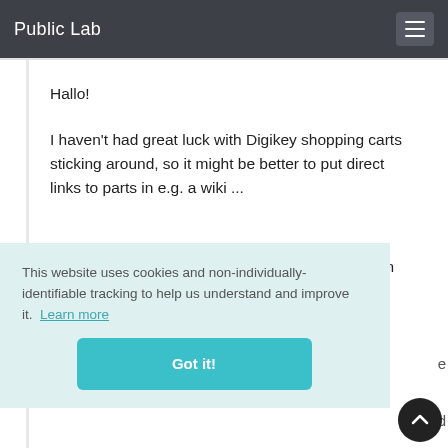Public Lab
Hallo!
I haven't had great luck with Digikey shopping carts sticking around, so it might be better to put direct links to parts in e.g. a wiki ...
Re: burning out the timer, haven't had that happen myself (I don't think?) but I guess you'd
This website uses cookies and non-individually-identifiable tracking to help us understand and improve it.  Learn more
Got it!